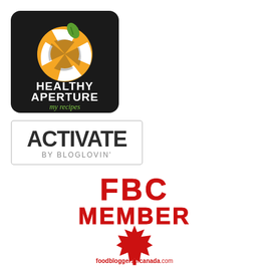[Figure (logo): Healthy Aperture logo — black rounded square background with orange aperture/citrus fruit icon, green leaf, white text HEALTHY APERTURE, green italic text 'my recipes']
[Figure (logo): Activate by Bloglovin' logo — white rectangle with border, large dark text ACTIVATE, smaller grey text BY BLOGLOVIN']
[Figure (logo): Food Bloggers of Canada FBC Member badge — bold red outlined text FBC MEMBER, red maple leaf icon, red URL text foodbloggersofcanada.com]